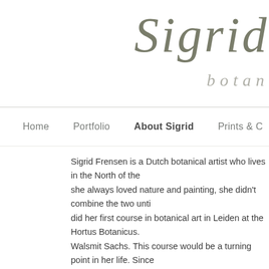Sigrid
botan
Home   Portfolio   About Sigrid   Prints & C
Sigrid Frensen is a Dutch botanical artist who lives in the North of the she always loved nature and painting, she didn't combine the two unti did her first course in botanical art in Leiden at the Hortus Botanicus. Walsmit Sachs. This course would be a turning point in her life. Since several other courses and masterclasses with Valerie Oxley, Ann Swa Evans. Sigrid now teaches botanical art herself too.
Although she concentrated in the first years on coloured pencil work, s lot in watercolour. Another favourite medium is graphite pencil. It depe